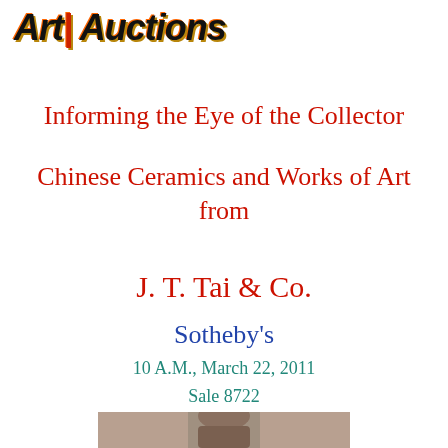Art| Auctions
Informing the Eye of the Collector
Chinese Ceramics and Works of Art from
J. T. Tai & Co.
Sotheby's
10 A.M., March 22, 2011
Sale 8722
[Figure (photo): Photograph of a bronze or ceramic sculptural artifact, partially visible at the bottom of the page — appears to be a head or bust figure]